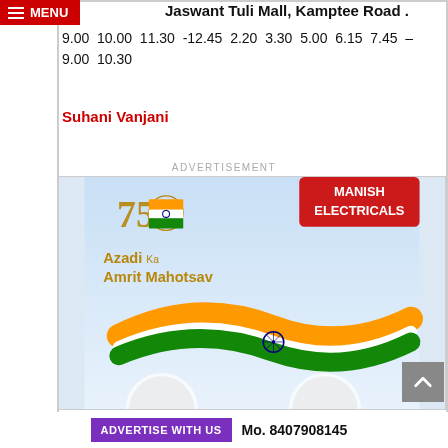Jaswant Tuli Mall, Kamptee Road .
9.00  10.00  11.30  -12.45  2.20  3.30  5.00  6.15  7.45  –
9.00  10.30
Suhani Vanjani
ADVERTISEMENT
[Figure (illustration): Azadi Ka Amrit Mahotsav advertisement with Indian flag ribbon and 75th anniversary logo. MANISH ELECTRICALS branding in top right red banner.]
ADVERTISE WITH US  Mo. 8407908145